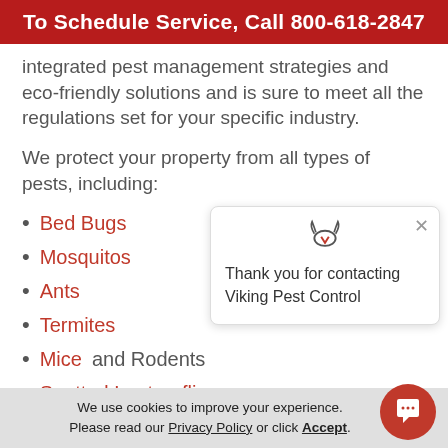To Schedule Service, Call 800-618-2847
integrated pest management strategies and eco-friendly solutions and is sure to meet all the regulations set for your specific industry.
We protect your property from all types of pests, including:
Bed Bugs
Mosquitos
Ants
Termites
Mice and Rodents
Spotted Lanternflies
[Figure (screenshot): Viking Pest Control chat popup saying: Thank you for contacting Viking Pest Control]
We use cookies to improve your experience. Please read our Privacy Policy or click Accept.